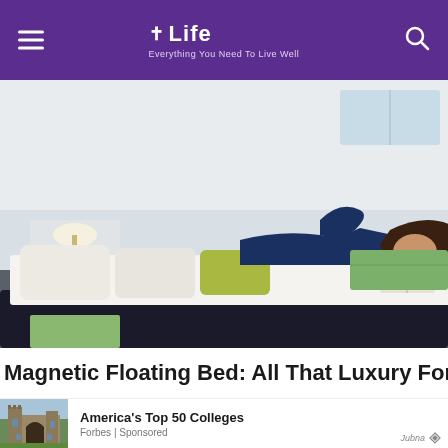Life — Everything You Need To Live Well
[Figure (photo): A young woman lying on a white platform bed reading a book in a modern minimalist bedroom with white and green decor]
Magnetic Floating Bed: All That Luxury For Mere $1.6
[Figure (photo): Gothic stone building with arched entrance, resembling a college or university building]
America's Top 50 Colleges
Forbes | Sponsored